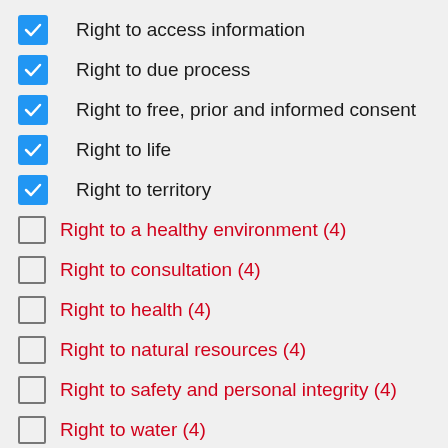Right to access information
Right to due process
Right to free, prior and informed consent
Right to life
Right to territory
Right to a healthy environment (4)
Right to consultation (4)
Right to health (4)
Right to natural resources (4)
Right to safety and personal integrity (4)
Right to water (4)
Right to self-determination (3)
Right to collective property (2)
Right to private property (2)
Right to defend rights (1)